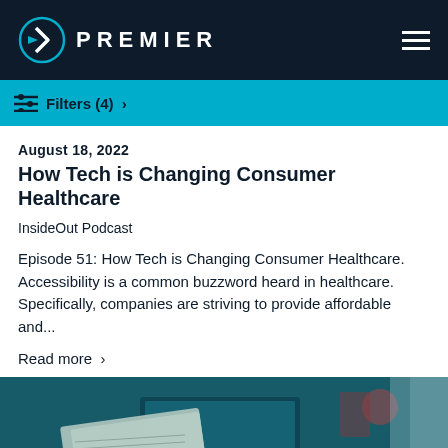PREMIER
Filters (4) >
August 18, 2022
How Tech is Changing Consumer Healthcare
InsideOut Podcast
Episode 51: How Tech is Changing Consumer Healthcare. Accessibility is a common buzzword heard in healthcare. Specifically, companies are striving to provide affordable and...
Read more >
[Figure (photo): Photo of papers and laptop on a desk in a healthcare or office setting, teal-toned]
We use cookies to personalize content and ads, to provide social media features and to analyze our traffic. We also share